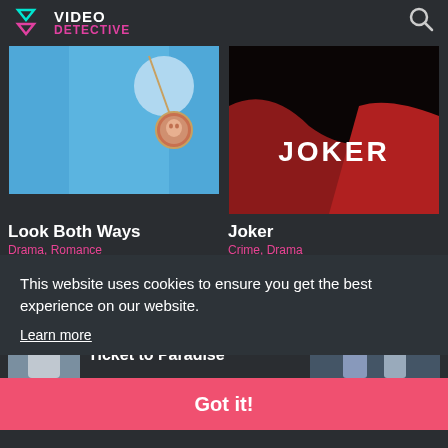VIDEO DETECTIVE
[Figure (photo): Movie thumbnail for Look Both Ways - necklace with small portrait photo against blue sky background]
Look Both Ways
Drama, Romance
★ 7ℛ
[Figure (photo): Movie thumbnail for Joker - dark red dramatic lighting with JOKER text in white]
Joker
Crime, Drama
[Figure (photo): Small thumbnail for Ticket to Paradise - person in outdoor scene]
Ticket to Paradise
This website uses cookies to ensure you get the best experience on our website.
Learn more
Got it!